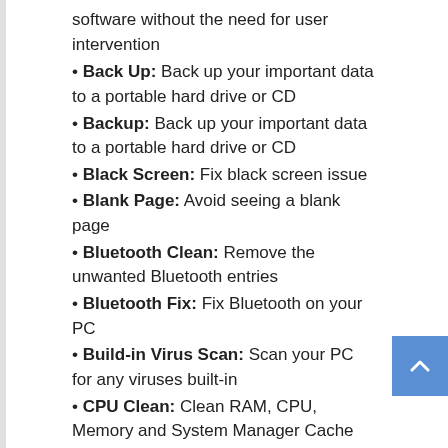software without the need for user intervention
• Back Up: Back up your important data to a portable hard drive or CD
• Backup: Back up your important data to a portable hard drive or CD
• Black Screen: Fix black screen issue
• Blank Page: Avoid seeing a blank page
• Bluetooth Clean: Remove the unwanted Bluetooth entries
• Bluetooth Fix: Fix Bluetooth on your PC
• Build-in Virus Scan: Scan your PC for any viruses built-in
• CPU Clean: Clean RAM, CPU, Memory and System Manager Cache
System Requirements:
Windows
Mac OS